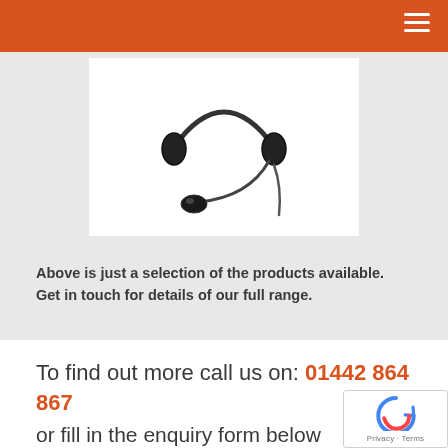[Figure (photo): A headset with microphone boom, black, shown on a white background.]
Above is just a selection of the products available. Get in touch for details of our full range.
To find out more call us on: 01442 864 867
or fill in the enquiry form below